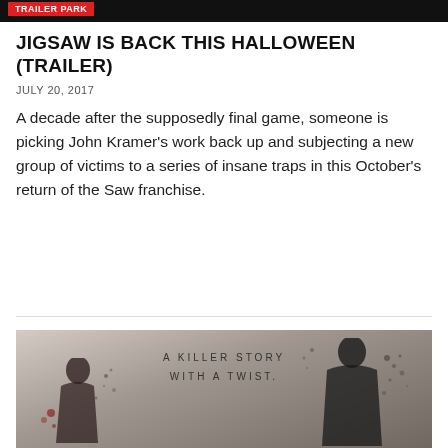TRAILER PARK
JIGSAW IS BACK THIS HALLOWEEN (TRAILER)
JULY 20, 2017
A decade after the supposedly final game, someone is picking John Kramer's work back up and subjecting a new group of victims to a series of insane traps in this October's return of the Saw franchise.
[Figure (photo): Movie poster for Jigsaw featuring two dark silhouette figures disintegrating into particles against a grungy light background with text 'A KILLER STORY WITH A TWIST.']